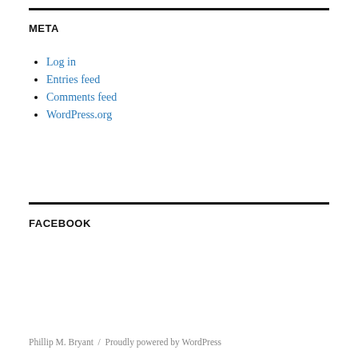META
Log in
Entries feed
Comments feed
WordPress.org
FACEBOOK
Phillip M. Bryant  /  Proudly powered by WordPress